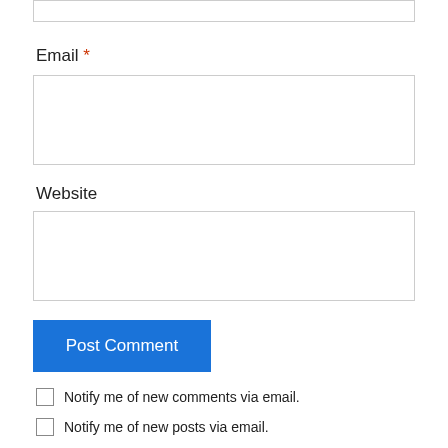[Figure (other): Top input field (partially visible at top of page)]
Email *
[Figure (other): Email input text box]
Website
[Figure (other): Website input text box]
[Figure (other): Post Comment button (blue)]
Notify me of new comments via email.
Notify me of new posts via email.
lawen83 on November 18, 2012 at 10:20 pm